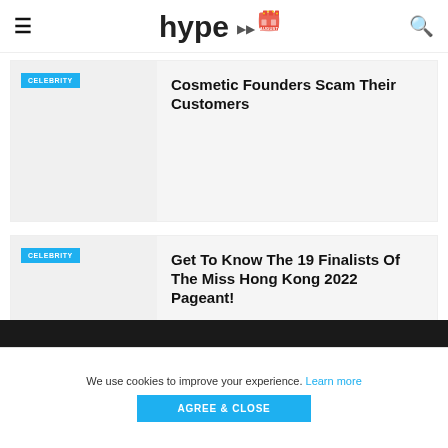hype [logo with August badge]
Cosmetic Founders Scam Their Customers
Get To Know The 19 Finalists Of The Miss Hong Kong 2022 Pageant!
We use cookies to improve your experience. Learn more
AGREE & CLOSE